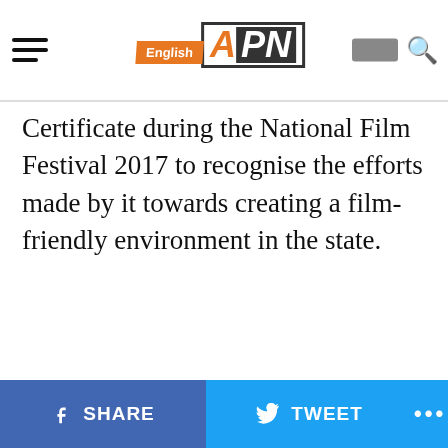English APN [navigation bar with logo]
Certificate during the National Film Festival 2017 to recognise the efforts made by it towards creating a film-friendly environment in the state.
SHARE  TWEET  ...